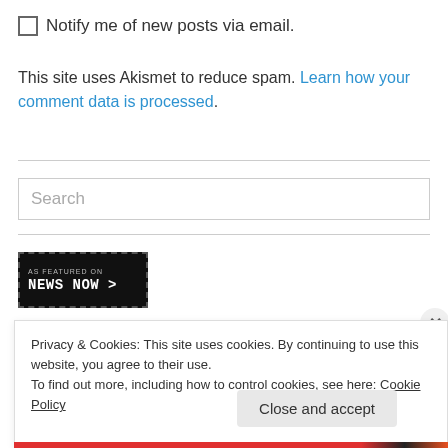Notify me of new posts via email.
This site uses Akismet to reduce spam. Learn how your comment data is processed.
Search
[Figure (logo): AS FEATURED ON News Now > badge with dark background]
Privacy & Cookies: This site uses cookies. By continuing to use this website, you agree to their use.
To find out more, including how to control cookies, see here: Cookie Policy
Close and accept